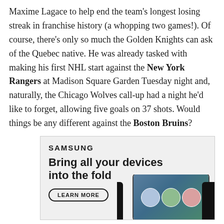Maxime Lagace to help end the team's longest losing streak in franchise history (a whopping two games!). Of course, there's only so much the Golden Knights can ask of the Quebec native. He was already tasked with making his first NHL start against the New York Rangers at Madison Square Garden Tuesday night and, naturally, the Chicago Wolves call-up had a night he'd like to forget, allowing five goals on 37 shots. Would things be any different against the Boston Bruins?
[Figure (other): Samsung advertisement with text 'Bring all your devices into the fold', a LEARN MORE button, and an image of people on a phone/device screen with dark devices on the sides.]